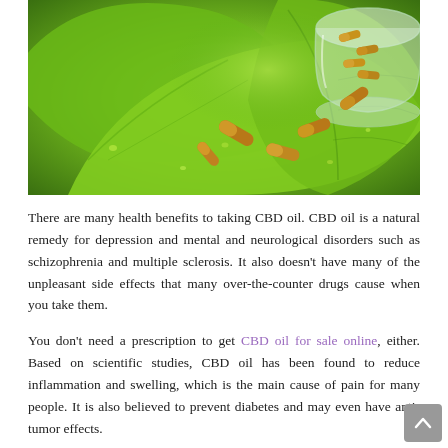[Figure (photo): Close-up photo of bright green leaves with water droplets, and several brown/tan capsule pills scattered on the leaves with a glass jar tipped on its side containing more capsules in the upper right corner.]
There are many health benefits to taking CBD oil. CBD oil is a natural remedy for depression and mental and neurological disorders such as schizophrenia and multiple sclerosis. It also doesn't have many of the unpleasant side effects that many over-the-counter drugs cause when you take them.
You don't need a prescription to get CBD oil for sale online, either. Based on scientific studies, CBD oil has been found to reduce inflammation and swelling, which is the main cause of pain for many people. It is also believed to prevent diabetes and may even have anti-tumor effects.